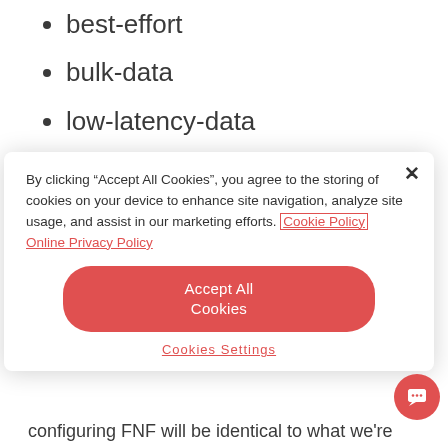best-effort
bulk-data
low-latency-data
real-time-video
scavenger
By clicking “Accept All Cookies”, you agree to the storing of cookies on your device to enhance site navigation, analyze site usage, and assist in our marketing efforts. Cookie Policy Online Privacy Policy
Accept All Cookies
Cookies Settings
configuring FNF will be identical to what we’re